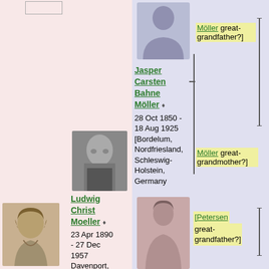[Figure (other): Small empty rectangle outline at top left]
[Figure (illustration): Male silhouette placeholder image (blue-gray background) for unknown ancestor]
[Möller great-grandfather?]
Jasper Carsten Bahne Möller ♦
28 Oct 1850 - 18 Aug 1925
[Bordelum, Nordfriesland, Schleswig-Holstein, Germany
[Figure (photo): Black and white photo of Ludwig Christ Moeller, elderly man]
Ludwig Christ Moeller ♦
23 Apr 1890 - 27 Dec 1957
Davenport, Scott, Iowa,
[Möller great-grandmother?]
[Figure (illustration): Female silhouette placeholder image (pink-gray background) for unknown ancestor]
[Petersen great-grandfather?]
[Figure (photo): Sepia photo of Millie, young woman]
Millie